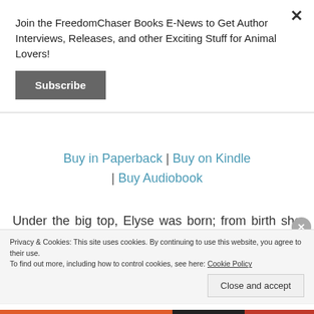Join the FreedomChaser Books E-News to Get Author Interviews, Releases, and other Exciting Stuff for Animal Lovers!
Subscribe
Buy in Paperback | Buy on Kindle | Buy Audiobook
Under the big top, Elyse was born; from birth she was trained to obey. She would travel the country, perform
Privacy & Cookies: This site uses cookies. By continuing to use this website, you agree to their use.
To find out more, including how to control cookies, see here: Cookie Policy
Close and accept